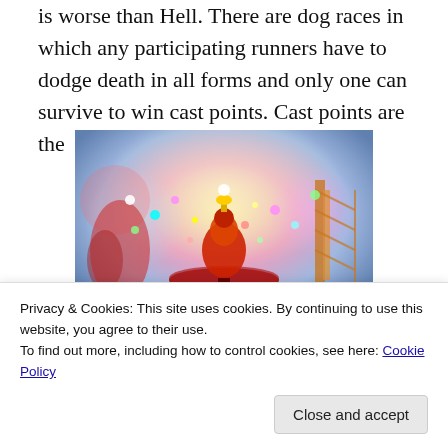is worse than Hell. There are dog races in which any participating runners have to dodge death in all forms and only one can survive to win cast points. Cast points are the
[Figure (illustration): A colorful, fantastical illustration showing a chaotic carnival or theme park scene with glowing lights, a central mechanical figure with a mushroom-shaped platform, roller coaster structures, and vivid multicolored bursts of light against a dramatic sky.]
Privacy & Cookies: This site uses cookies. By continuing to use this website, you agree to their use.
To find out more, including how to control cookies, see here: Cookie Policy
cast points (not magically here), mind you) so you can buy